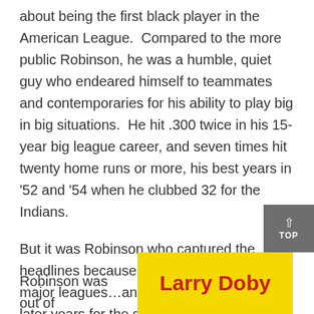about being the first black player in the American League.  Compared to the more public Robinson, he was a humble, quiet guy who endeared himself to teammates and contemporaries for his ability to play big in big situations.  He hit .300 twice in his 15-year big league career, and seven times hit twenty home runs or more, his best years in '52 and '54 when he clubbed 32 for the Indians.
But it was Robinson who captured the headlines because he was the first in the major leagues…and more outspoken in later years for the sake of racial equality not only in baseball, but the country, as well.
Robinson was out of
[Figure (other): Yellow banner with bold red text reading 'Larry Doby']